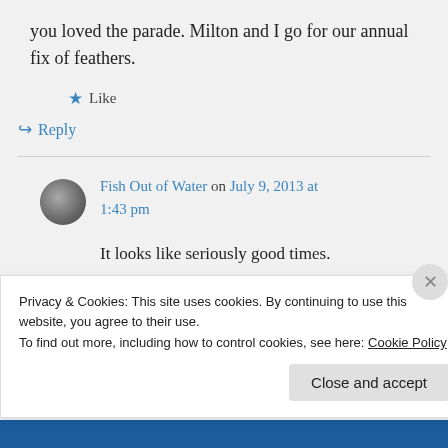you loved the parade. Milton and I go for our annual fix of feathers.
★ Like
↪ Reply
Fish Out of Water on July 9, 2013 at 1:43 pm
It looks like seriously good times.
I'm doing pretty well. It's been a
Privacy & Cookies: This site uses cookies. By continuing to use this website, you agree to their use.
To find out more, including how to control cookies, see here: Cookie Policy
Close and accept